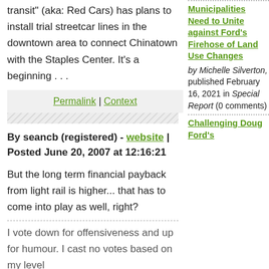transit" (aka: Red Cars) has plans to install trial streetcar lines in the downtown area to connect Chinatown with the Staples Center. It's a beginning . . .
Permalink | Context
By seancb (registered) - website | Posted June 20, 2007 at 12:16:21
But the long term financial payback from light rail is higher... that has to come into play as well, right?
I vote down for offensiveness and up for humour. I cast no votes based on my level
Municipalities Need to Unite against Ford's Firehose of Land Use Changes by Michelle Silverton, published February 16, 2021 in Special Report (0 comments)
Challenging Doug Ford's